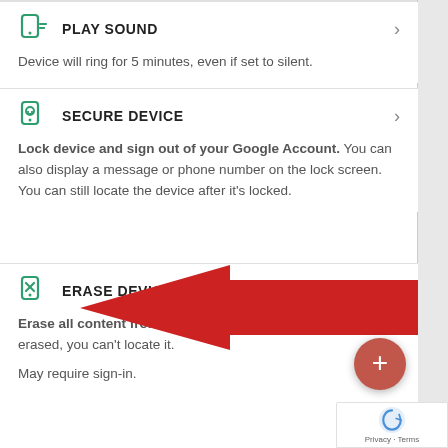PLAY SOUND — Device will ring for 5 minutes, even if set to silent.
SECURE DEVICE — Lock device and sign out of your Google Account. You can also display a message or phone number on the lock screen. You can still locate the device after it's locked.
ERASE DEVICE — Erase all content from the device. After your device has been erased, you can't locate it. May require sign-in.
[Figure (infographic): Large red arrow pointing left toward ERASE DEVICE menu item, with a red circular FAB (+) button and reCAPTCHA badge in the lower right.]